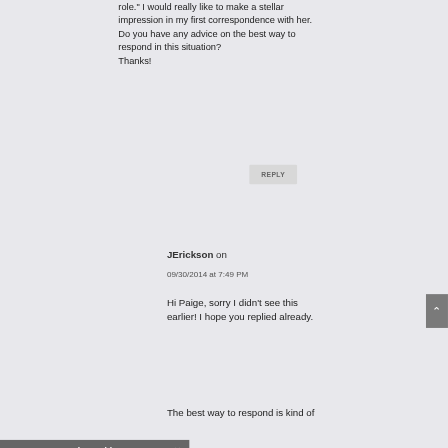role." I would really like to make a stellar impression in my first correspondence with her. Do you have any advice on the best way to respond in this situation? Thanks!
REPLY
JErickson on 09/30/2014 at 7:49 PM
Hi Paige, sorry I didn't see this earlier! I hope you replied already.
The best way to respond is kind of...
Share This